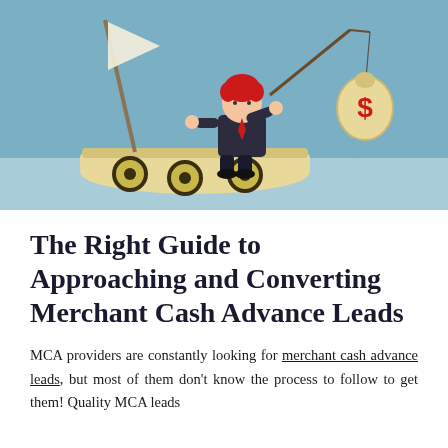[Figure (illustration): A cartoon illustration showing a businessman with red hair standing on a wooden boat (on blue water), fishing with a rod. A money bag with a dollar sign hangs from the fishing line on the right side. Blue sky background.]
The Right Guide to Approaching and Converting Merchant Cash Advance Leads
MCA providers are constantly looking for merchant cash advance leads, but most of them don't know the process to follow to get them! Quality MCA leads